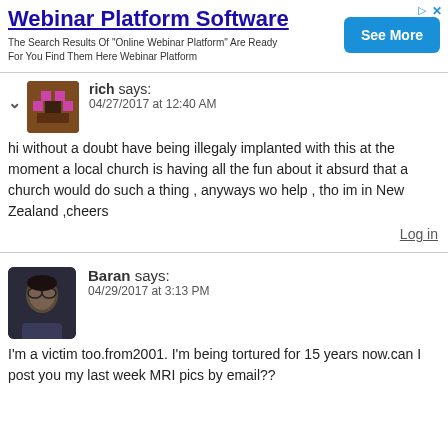[Figure (screenshot): Advertisement banner for 'Webinar Platform Software' with blue 'See More' button]
rich says: 04/27/2017 at 12:40 AM
hi without a doubt have being illegaly implanted with this at the moment a local church is having all the fun about it absurd that a church would do such a thing , anyways wo help , tho im in New Zealand ,cheers
Log in
Baran says: 04/29/2017 at 3:13 PM
I'm a victim too.from2001. I'm being tortured for 15 years now.can I post you my last week MRI pics by email??